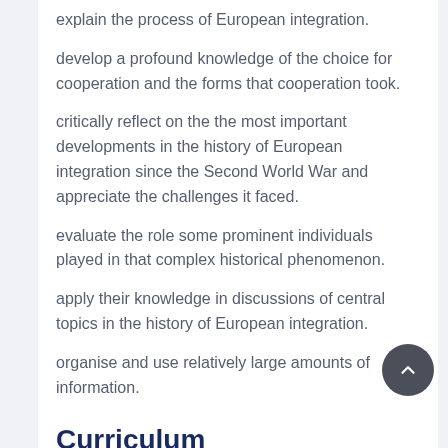explain the process of European integration.
develop a profound knowledge of the choice for cooperation and the forms that cooperation took.
critically reflect on the the most important developments in the history of European integration since the Second World War and appreciate the challenges it faced.
evaluate the role some prominent individuals played in that complex historical phenomenon.
apply their knowledge in discussions of central topics in the history of European integration.
organise and use relatively large amounts of information.
Curriculum